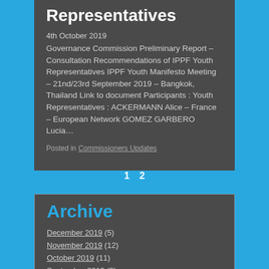Representatives
4th October 2019
Governance Commission Preliminary Report – Consultation Recommendations of IPPF Youth Representatives IPPF Youth Manifesto Meeting – 21nd/23rd September 2019 – Bangkok, Thailand Link to document Participants : Youth Representatives : ACKERMANN Alice – France – European Network GOMEZ GARBERO Lucia…
Posted in Commissioners Updates
1  2
Archive
December 2019 (5)
November 2019 (12)
October 2019 (11)
September 2019 (3)